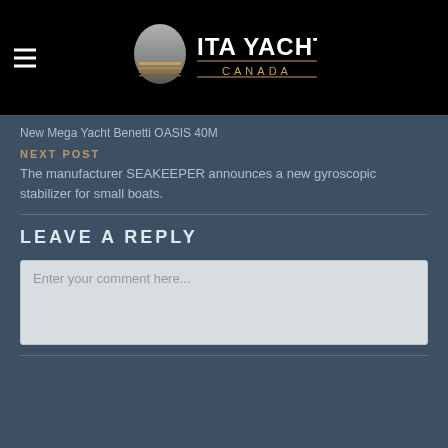[Figure (logo): ITA Yachts Canada logo with circular sunset icon and text]
New Mega Yacht Benetti OASIS 40M
NEXT POST
The manufacturer SEAKEEPER announces a new gyroscopic stabilizer for small boats.
LEAVE A REPLY
Enter your comment here...